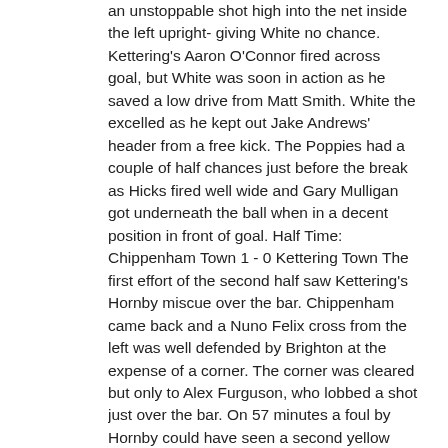an unstoppable shot high into the net inside the left upright- giving White no chance. Kettering's Aaron O'Connor fired across goal, but White was soon in action as he saved a low drive from Matt Smith. White the excelled as he kept out Jake Andrews' header from a free kick. The Poppies had a couple of half chances just before the break as Hicks fired well wide and Gary Mulligan got underneath the ball when in a decent position in front of goal. Half Time: Chippenham Town 1 - 0 Kettering Town The first effort of the second half saw Kettering's Hornby miscue over the bar. Chippenham came back and a Nuno Felix cross from the left was well defended by Brighton at the expense of a corner. The corner was cleared but only to Alex Furguson, who lobbed a shot just over the bar. On 57 minutes a foul by Hornby could have seen a second yellow card, and White made a great save from Andrews free kick. Hornby was quickly replaced by Matthew Barnes-Homer as a reorganisation saw Mulligan go into midfield and Brighton drop into defence. The Poppies now had a very attacking formation and it was going to pressurise the home defence. Canavan had a chance on the left- but his left foot effort was high and wide of the target. Chitty saved a Rene Howe shot with his legs and